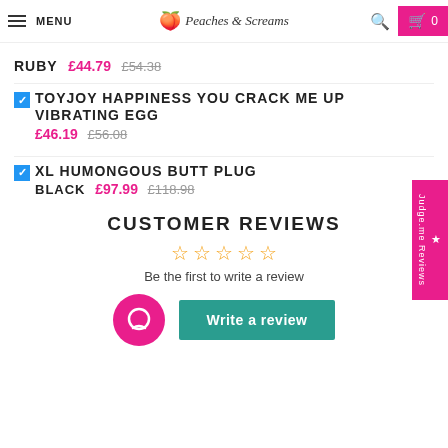MENU | Peaches & Screams | 🔍 | Cart 0
RUBY £44.79 £54.38
✓ TOYJOY HAPPINESS YOU CRACK ME UP VIBRATING EGG £46.19 £56.08
✓ XL HUMONGOUS BUTT PLUG BLACK £97.99 £118.98
CUSTOMER REVIEWS
Be the first to write a review
Write a review